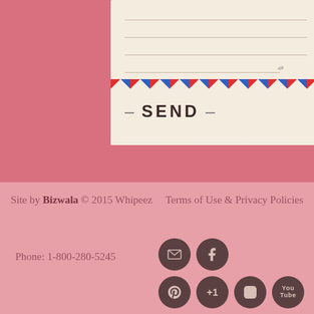[Figure (illustration): Envelope/postcard contact form with horizontal lined writing area, airmail-style red and blue diagonal stripe, and a SEND button below with decorative dashes. Wavy bottom edge completes the envelope motif.]
Site by Bizwala © 2015 Whipeez     Terms of Use & Privacy Policies
Phone: 1-800-280-5245
[Figure (infographic): Six social media icon circles (dark brownish-rose) arranged in 2 rows: email/envelope icon, Facebook icon (top row); Pinterest icon, Google+1 icon, Instagram icon, YouTube icon (bottom row).]